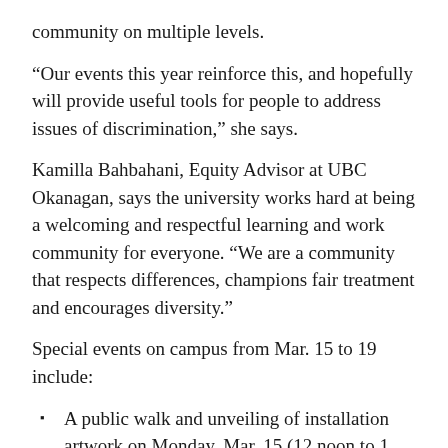community on multiple levels.
“Our events this year reinforce this, and hopefully will provide useful tools for people to address issues of discrimination,” she says.
Kamilla Bahbahani, Equity Advisor at UBC Okanagan, says the university works hard at being a welcoming and respectful learning and work community for everyone. “We are a community that respects differences, champions fair treatment and encourages diversity.”
Special events on campus from Mar. 15 to 19 include:
A public walk and unveiling of installation artwork on Monday, Mar. 15 (12 noon to 1 p.m., Campus Courtyard)
A student cultural fair on Tuesday, Mar. 16 (11:30 a.m., Campus Courtyard)